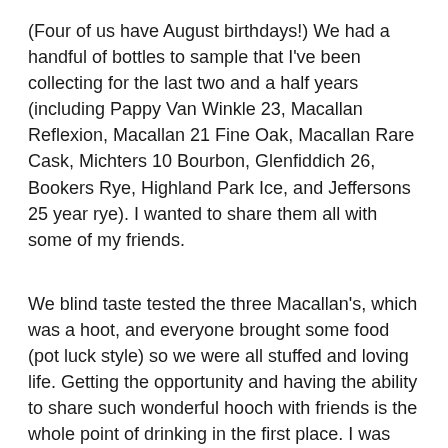(Four of us have August birthdays!) We had a handful of bottles to sample that I've been collecting for the last two and a half years (including Pappy Van Winkle 23, Macallan Reflexion, Macallan 21 Fine Oak, Macallan Rare Cask, Michters 10 Bourbon, Glenfiddich 26, Bookers Rye, Highland Park Ice, and Jeffersons 25 year rye). I wanted to share them all with some of my friends.
We blind taste tested the three Macallan's, which was a hoot, and everyone brought some food (pot luck style) so we were all stuffed and loving life. Getting the opportunity and having the ability to share such wonderful hooch with friends is the whole point of drinking in the first place. I was hoping to create a once in a life time experience that we could all enjoy. 🙂
Anywho, let's move on to the review we've all been